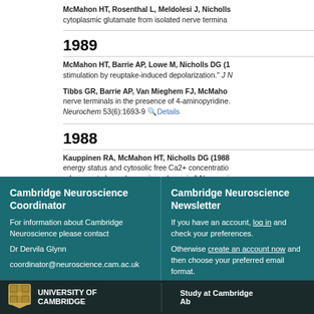McMahon HT, Rosenthal L, Meldolesi J, Nicholls cytoplasmic glutamate from isolated nerve terminal
1989
McMahon HT, Barrie AP, Lowe M, Nicholls DG (1 stimulation by reuptake-induced depolarization. J N
Tibbs GR, Barrie AP, Van Mieghem FJ, McMaho nerve terminals in the presence of 4-aminopyridine. Neurochem 53(6):1693-9 Details
1988
Kauppinen RA, McMahon HT, Nicholls DG (1988 energy status and cytosolic free Ca2+ concentratio relevance to hypoglycaemia and anoxia. Neurosci
Cambridge Neuroscience Coordinator
For information about Cambridge Neuroscience please contact
Dr Dervila Glynn
coordinator@neuroscience.cam.ac.uk
Cambridge Neuroscience Newsletter
If you have an account, log in and check your preferences.
Otherwise create an account now and then choose your preferred email format.
[Figure (logo): University of Cambridge shield logo with text UNIVERSITY OF CAMBRIDGE]
Study at Cambridge
Ab